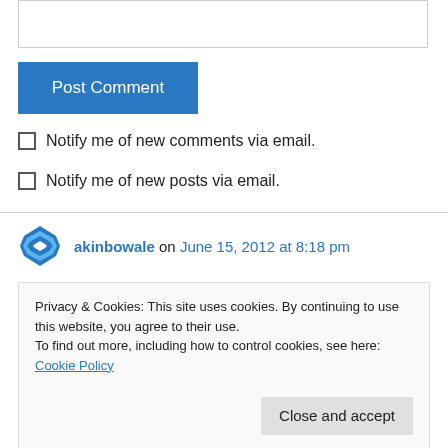[Figure (screenshot): Empty text input box for comment entry]
Post Comment
Notify me of new comments via email.
Notify me of new posts via email.
akinbowale on June 15, 2012 at 8:18 pm
Privacy & Cookies: This site uses cookies. By continuing to use this website, you agree to their use. To find out more, including how to control cookies, see here: Cookie Policy
Close and accept